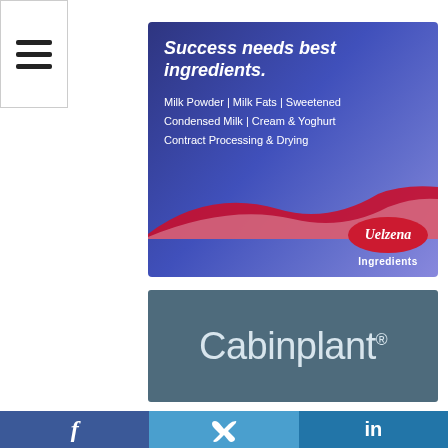[Figure (logo): Hamburger menu icon (three horizontal lines) top-left corner]
[Figure (illustration): Uelzena Ingredients advertisement with dark blue/purple background, white text 'Success needs best ingredients.' with product list: Milk Powder | Milk Fats | Sweetened Condensed Milk | Cream & Yoghurt, Contract Processing & Drying, red wave graphic, and Uelzena Ingredients logo]
[Figure (logo): Cabinplant advertisement - gray-teal background with white 'Cabinplant' wordmark and registered trademark symbol]
[Figure (illustration): Briggs Equipment UK advertisement - white background with red bordered BRIGGS logo and EQUIPMENT UK text on left, red rounded rectangle on right with CLICK OR CALL and phone number 03301 23 98 50, below a red banner reading NEED A UNIQUE SOLUTION FOR THE FOOD AND DRINK INDUSTRY?]
[Figure (illustration): Social media footer bar with Facebook (f), Twitter (bird), and LinkedIn (in) icons on blue backgrounds]